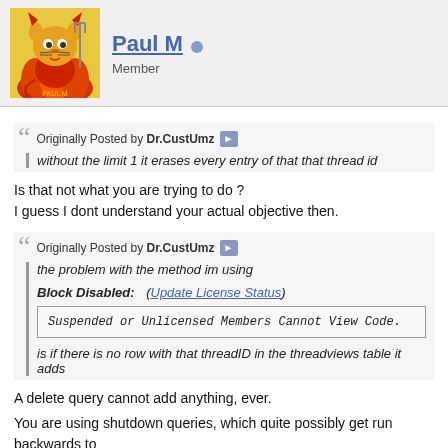[Figure (illustration): Forum user avatar: cartoon devil Garfield character in red with pitchfork on yellow/flame background]
Paul M
Member
Originally Posted by Dr.CustUmz
without the limit 1 it erases every entry of that that thread id
Is that not what you are trying to do ?
I guess I dont understand your actual objective then.
Originally Posted by Dr.CustUmz
the problem with the method im using
Block Disabled: (Update License Status)
Suspended or Unlicensed Members Cannot View Code.
is if there is no row with that threadID in the threadviews table it adds
A delete query cannot add anything, ever.
You are using shutdown queries, which quite possibly get run backwards to more likely the delete is running first, then the insert. You wont notice this if
Former vBulletin